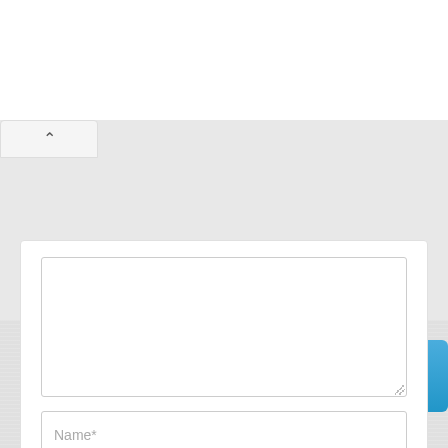[Figure (screenshot): Web comment form with textarea, Name* input, Email* input, and Post Comment button]
Follow #NerdTechy
[Figure (infographic): Social media icons row: Twitter, Facebook, Pinterest, Instagram, YouTube]